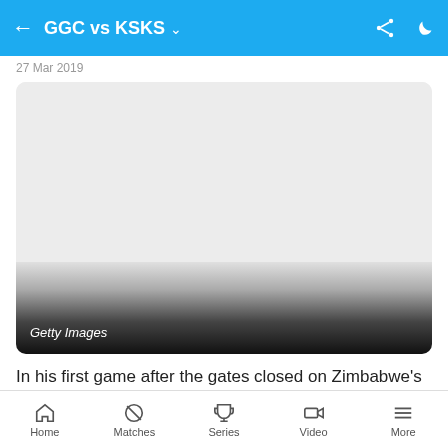GGC vs KSKS
27 Mar 2019
[Figure (photo): A faded/greyscale image with a light grey top area fading to black at the bottom, with 'Getty Images' watermark text in the lower left corner.]
In his first game after the gates closed on Zimbabwe's
Home | Matches | Series | Video | More